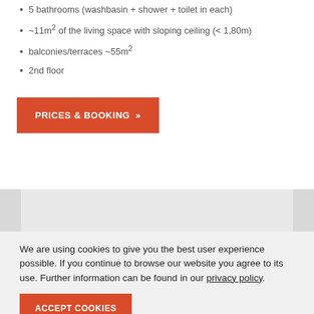5 bathrooms (washbasin + shower + toilet in each)
~11m² of the living space with sloping ceiling (< 1,80m)
balconies/terraces ~55m²
2nd floor
PRICES & BOOKING »»
[Figure (other): Gray decorative block with lighter center panel]
We are using cookies to give you the best user experience possible. If you continue to browse our website you agree to its use. Further information can be found in our privacy policy.
ACCEPT COOKIES